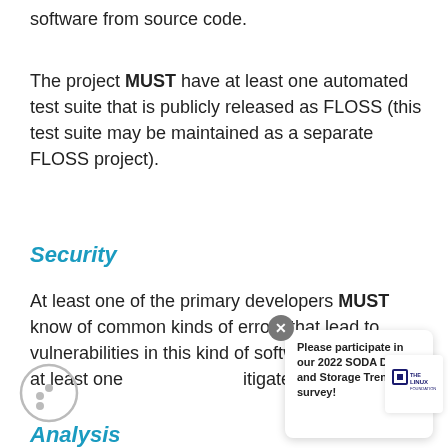software from source code.
The project MUST have at least one automated test suite that is publicly released as FLOSS (this test suite may be maintained as a separate FLOSS project).
Security
At least one of the primary developers MUST know of common kinds of errors that lead to vulnerabilities in this kind of software, as well as at least one … itigate each of them.
[Figure (other): Cookie consent icon - circle with three dots]
Please participate in our 2022 SODA Data and Storage Trends survey!
[Figure (logo): The Linux Foundation logo]
Analysis